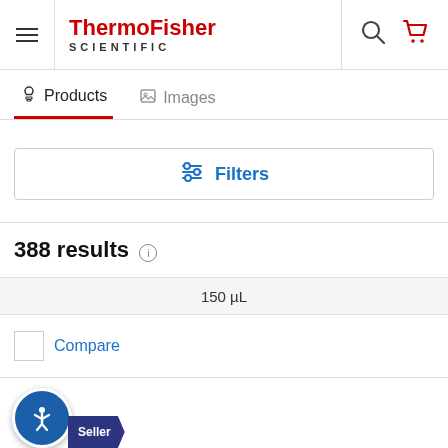[Figure (logo): ThermoFisher Scientific logo with hamburger menu, search and cart icons]
[Figure (screenshot): Navigation tabs: Products (active, underlined in red) and Images]
[Figure (screenshot): Filters button with slider icon in blue]
388 results
150 µL
Compare
[Figure (screenshot): Accessibility button (blue circle with person icon) and Best Seller badge]